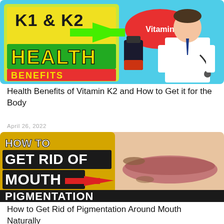[Figure (photo): Thumbnail image for Vitamin K1 & K2 Health Benefits article, showing a doctor in white coat, supplement bottle, and colorful text on cyan background saying K1 & K2 Vitamin HEALTH BENEFITS]
Health Benefits of Vitamin K2 and How to Get it for the Body
April 26, 2022
[Figure (photo): Thumbnail image showing close-up of lips/mouth area with dark pigmentation, and bold yellow-background text saying HOW TO GET RID OF MOUTH PIGMENTATION with a red arrow pointing to the mouth]
How to Get Rid of Pigmentation Around Mouth Naturally